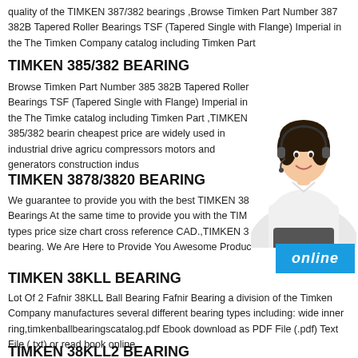quality of the TIMKEN 387/382 bearings ,Browse Timken Part Number 387 382B Tapered Roller Bearings TSF (Tapered Single with Flange) Imperial in the The Timken Company catalog including Timken Part
TIMKEN 385/382 BEARING
Browse Timken Part Number 385 382B Tapered Roller Bearings TSF (Tapered Single with Flange) Imperial in the The Timke catalog including Timken Part ,TIMKEN 385/382 bearin cheapest price are widely used in industrial drive agricu compressors motors and generators construction indus
TIMKEN 3878/3820 BEARING
We guarantee to provide you with the best TIMKEN 38 Bearings At the same time to provide you with the TIM types price size chart cross reference CAD.,TIMKEN 3 bearing. We Are Here to Provide You Awesome Produc
[Figure (photo): Customer service representative woman wearing headset, smiling, in professional attire]
online
TIMKEN 38KLL BEARING
Lot Of 2 Fafnir 38KLL Ball Bearing Fafnir Bearing a division of the Timken Company manufactures several different bearing types including: wide inner ring,timkenballbearingscatalog.pdf Ebook download as PDF File (.pdf) Text File (.txt) or read book online.
TIMKEN 38KLL2 BEARING